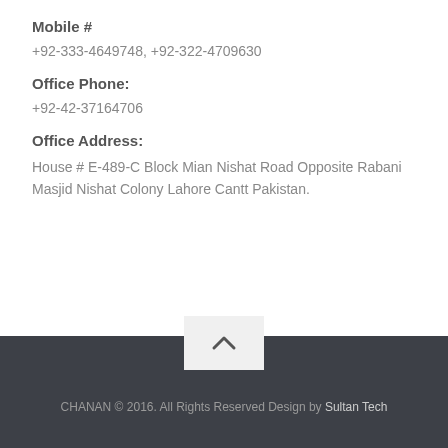Mobile #
+92-333-4649748, +92-322-4709630
Office Phone:
+92-42-37164706
Office Address:
House # E-489-C Block Mian Nishat Road Opposite Rabani Masjid Nishat Colony Lahore Cantt Pakistan.
CHANAN © 2016. All Rights Reserved Design by Sultan Tech